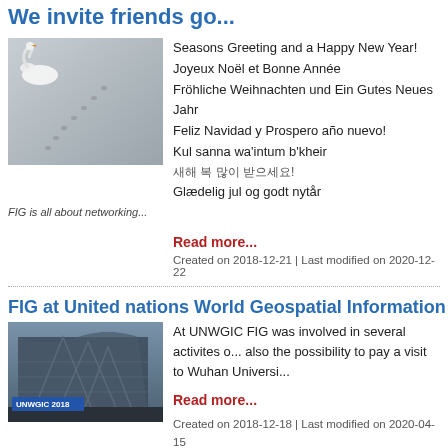We invite friends go...
[Figure (photo): A swan on a grey surface with footprints or tracks visible]
Seasons Greeting and a Happy New Year!
Joyeux Noël et Bonne Année
Fröhliche Weihnachten und Ein Gutes Neues Jahr
Feliz Navidad y Prospero año nuevo!
Kul sanna wa'intum b'kheir
새해 복 많이 받으세요!
Glædelig jul og godt nytår
FIG is all about networking...
Read more...
Created on 2018-12-21 | Last modified on 2020-12-22
FIG at United nations World Geospatial Information C
[Figure (photo): Modern building exterior with geometric facade, labeled UNWGIC 2018]
At UNWGIC FIG was involved in several activites o... also the possibility to pay a visit to Wuhan Universi...
Read more...
Created on 2018-12-18 | Last modified on 2020-04-15